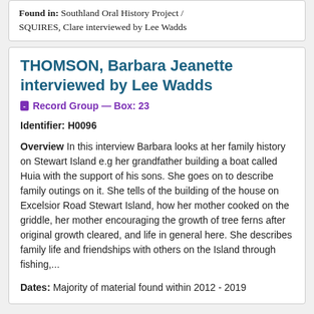Found in: Southland Oral History Project / SQUIRES, Clare interviewed by Lee Wadds
THOMSON, Barbara Jeanette interviewed by Lee Wadds
Record Group — Box: 23
Identifier: H0096
Overview In this interview Barbara looks at her family history on Stewart Island e.g her grandfather building a boat called Huia with the support of his sons. She goes on to describe family outings on it. She tells of the building of the house on Excelsior Road Stewart Island, how her mother cooked on the griddle, her mother encouraging the growth of tree ferns after original growth cleared, and life in general here. She describes family life and friendships with others on the Island through fishing,...
Dates: Majority of material found within 2012 - 2019